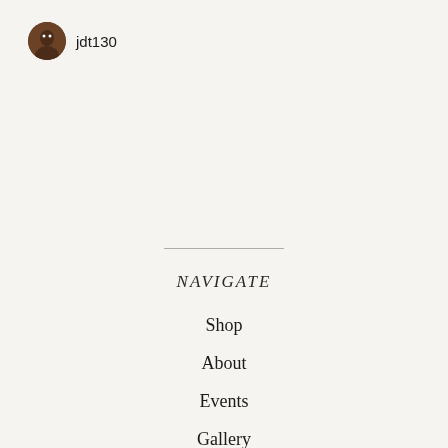jdt130
NAVIGATE
Shop
About
Events
Gallery
Shipping and Policies
Contact Us